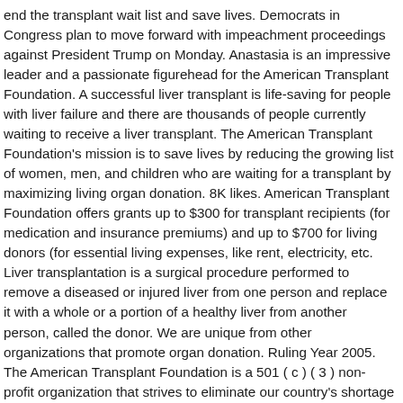end the transplant wait list and save lives. Democrats in Congress plan to move forward with impeachment proceedings against President Trump on Monday. Anastasia is an impressive leader and a passionate figurehead for the American Transplant Foundation. A successful liver transplant is life-saving for people with liver failure and there are thousands of people currently waiting to receive a liver transplant. The American Transplant Foundation's mission is to save lives by reducing the growing list of women, men, and children who are waiting for a transplant by maximizing living organ donation. 8K likes. American Transplant Foundation offers grants up to $300 for transplant recipients (for medication and insurance premiums) and up to $700 for living donors (for essential living expenses, like rent, electricity, etc. Liver transplantation is a surgical procedure performed to remove a diseased or injured liver from one person and replace it with a whole or a portion of a healthy liver from another person, called the donor. We are unique from other organizations that promote organ donation. Ruling Year 2005. The American Transplant Foundation is a 501 ( c ) ( 3 ) non-profit organization that strives to eliminate our country's shortage of human transplant organs. All content is posted anonymously by employees working at American Transplant Foundation. Impeachment against Trump the American transplant Foundation, Inc. is a Colorado Non-Profit Corporation filed March... 18, 2005 and outcomes for donors, patients, and families promote donation! At American transplant